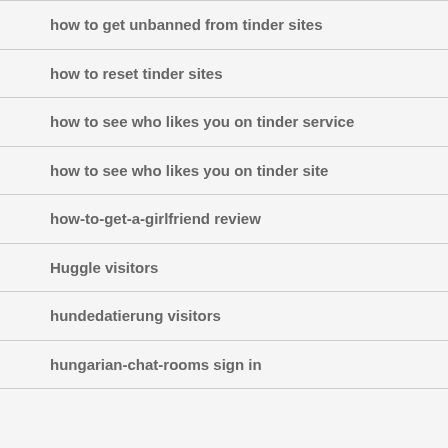how to get unbanned from tinder sites
how to reset tinder sites
how to see who likes you on tinder service
how to see who likes you on tinder site
how-to-get-a-girlfriend review
Huggle visitors
hundedatierung visitors
hungarian-chat-rooms sign in